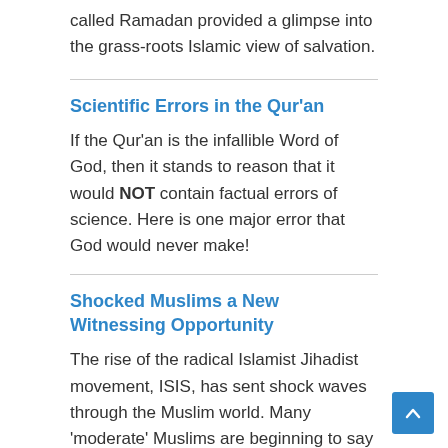called Ramadan provided a glimpse into the grass-roots Islamic view of salvation.
Scientific Errors in the Qur'an
If the Qur'an is the infallible Word of God, then it stands to reason that it would NOT contain factual errors of science. Here is one major error that God would never make!
Shocked Muslims a New Witnessing Opportunity
The rise of the radical Islamist Jihadist movement, ISIS, has sent shock waves through the Muslim world. Many 'moderate' Muslims are beginning to say to themselves: 'Is this the Islam that I belong to?